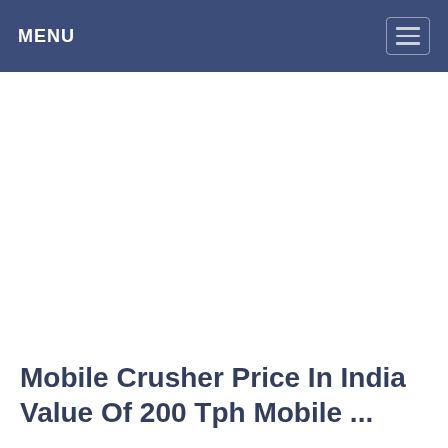MENU
Mobile Crusher Price In India Value Of 200 Tph Mobile ...